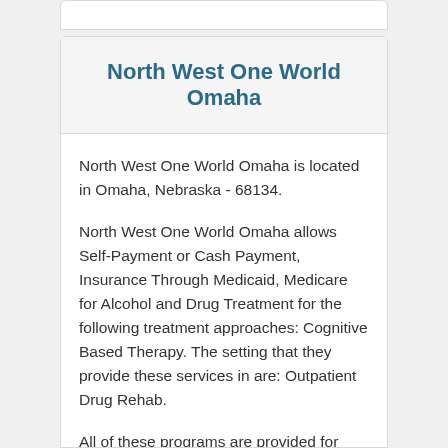North West One World Omaha
North West One World Omaha is located in Omaha, Nebraska - 68134.
North West One World Omaha allows Self-Payment or Cash Payment, Insurance Through Medicaid, Medicare for Alcohol and Drug Treatment for the following treatment approaches: Cognitive Based Therapy. The setting that they provide these services in are: Outpatient Drug Rehab.
All of these programs are provided for these care types: Addiction Rehab Services. North